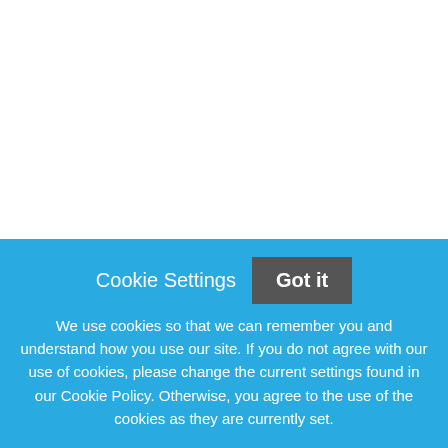About Us
Benefits
Culture
About Us
UNC Charlotte is
Cookie Settings
Got it
We use cookies so that we can remember you and understand how you use our site. If you do not agree with our use of cookies, please change the current settings found in our Cookie Policy. Otherwise, you agree to the use of the cookies as they are currently set.